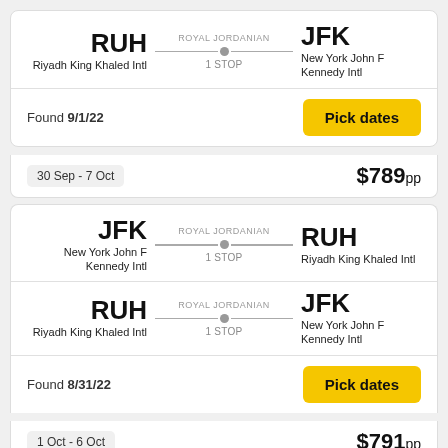RUH – Riyadh King Khaled Intl | ROYAL JORDANIAN 1 STOP | JFK – New York John F Kennedy Intl
Found 9/1/22
Pick dates
30 Sep - 7 Oct
$789pp
JFK – New York John F Kennedy Intl | ROYAL JORDANIAN 1 STOP | RUH – Riyadh King Khaled Intl
RUH – Riyadh King Khaled Intl | ROYAL JORDANIAN 1 STOP | JFK – New York John F Kennedy Intl
Found 8/31/22
Pick dates
1 Oct - 6 Oct
$791pp